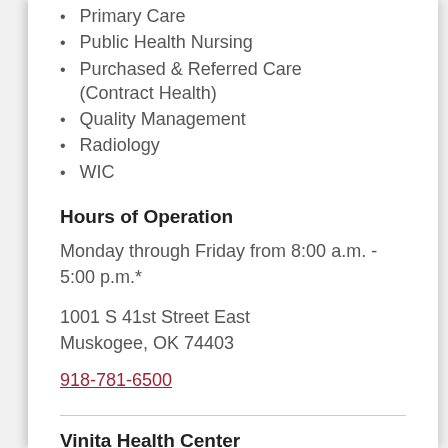Primary Care
Public Health Nursing
Purchased & Referred Care (Contract Health)
Quality Management
Radiology
WIC
Hours of Operation
Monday through Friday from 8:00 a.m. - 5:00 p.m.*
1001 S 41st Street East
Muskogee, OK 74403
918-781-6500
Vinita Health Center